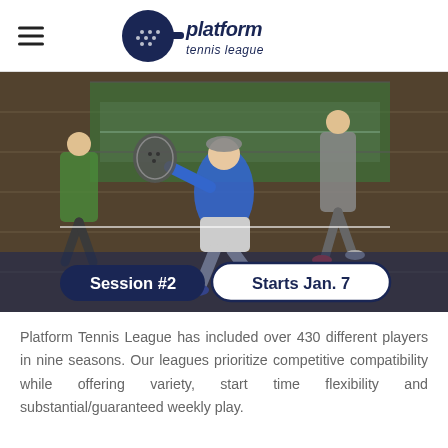Platform Tennis League logo
[Figure (photo): Platform tennis player in blue jacket lunging to hit a ball with a perforated paddle on an indoor platform tennis court. Other players visible in the background. Overlaid banner reads 'Session #2' and 'Starts Jan. 7'.]
Platform Tennis League has included over 430 different players in nine seasons. Our leagues prioritize competitive compatibility while offering variety, start time flexibility and substantial/guaranteed weekly play.